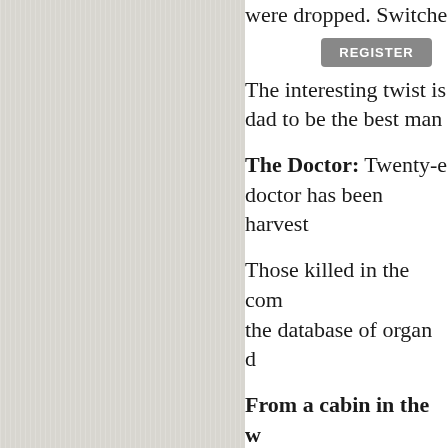were dropped. Switche
REGISTER
The interesting twist is dad to be the best man
The Doctor: Twenty-e doctor has been harvest
Those killed in the com the database of organ d
From a cabin in the w begins seeing things. A eyes? Will his eyes and a crime?
A vampire named Fre serial killer, a girl name